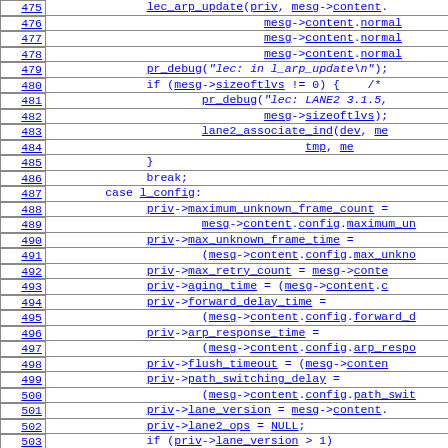[Figure (screenshot): Source code listing with line numbers 475-504, showing C code related to LEC ARP update and lane configuration assignments. Lines are styled with blue monospace font on white background with bordered line number cells.]